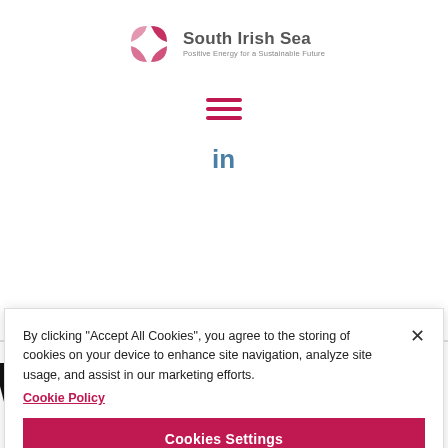[Figure (logo): South Irish Sea logo with swirl icon and tagline 'Positive Energy for a Sustainable Future']
[Figure (other): Hamburger menu icon (three horizontal crimson lines)]
[Figure (other): LinkedIn 'in' icon in steel blue]
Who we are
By clicking "Accept All Cookies", you agree to the storing of cookies on your device to enhance site navigation, analyze site usage, and assist in our marketing efforts.
Cookie Policy
Cookies Settings
Reject All